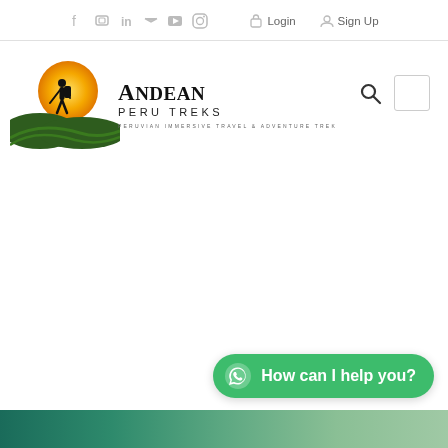Social icons: f, flickr, in, twitter, youtube, instagram | Login | Sign Up
[Figure (logo): Andean Peru Treks logo with hiker silhouette on sun and hills, text: ANDEAN PERU TREKS, PERUVIAN IMMERSIVE TRAVEL & ADVENTURE TREK]
How can I help you?